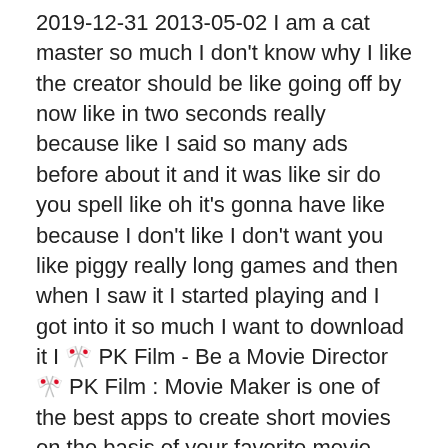2019-12-31 2013-05-02 I am a cat master so much I don't know why I like the creator should be like going off by now like in two seconds really because like I said so many ads before about it and it was like sir do you spell like oh it's gonna have like because I don't like I don't want you like piggy really long games and then when I saw it I started playing and I got into it so much I want to download it I 🎬 PK Film - Be a Movie Director 🎬 PK Film : Movie Maker is one of the best apps to create short movies on the basis of your favorite movie theme whether its Bollywood or Hollywood in just few minutes, select your theme, enter movie name and subtitle, select photos from gallery and save your movie That's it! Your movie is ready to share where ever you want. Download The Master Torrent Ita:Dal regista di "Memento", "Il Patriota" e via "The Master" il ...